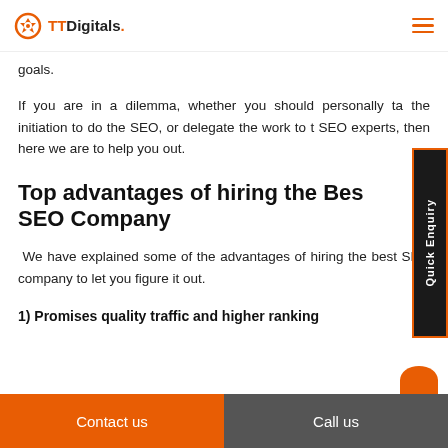TTDigitals.
goals.
If you are in a dilemma, whether you should personally take the initiation to do the SEO, or delegate the work to the SEO experts, then here we are to help you out.
Top advantages of hiring the Best SEO Company
We have explained some of the advantages of hiring the best SEO company to let you figure it out.
1) Promises quality traffic and higher ranking
Contact us   Call us